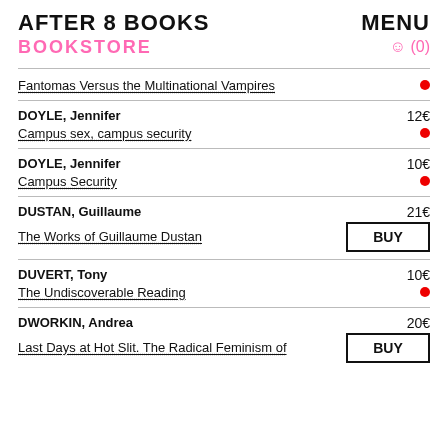AFTER 8 BOOKS
BOOKSTORE
MENU ☺ (0)
Fantomas Versus the Multinational Vampires • [red dot]
DOYLE, Jennifer 12€ / Campus sex, campus security • [red dot]
DOYLE, Jennifer 10€ / Campus Security • [red dot]
DUSTAN, Guillaume 21€ / The Works of Guillaume Dustan [BUY button]
DUVERT, Tony 10€ / The Undiscoverable Reading • [red dot]
DWORKIN, Andrea 20€ / Last Days at Hot Slit. The Radical Feminism of [BUY button]